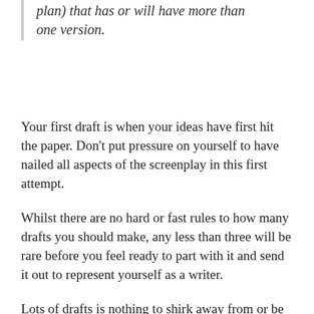plan) that has or will have more than one version.
Your first draft is when your ideas have first hit the paper. Don’t put pressure on yourself to have nailed all aspects of the screenplay in this first attempt.
Whilst there are no hard or fast rules to how many drafts you should make, any less than three will be rare before you feel ready to part with it and send it out to represent yourself as a writer.
Lots of drafts is nothing to shirk away from or be ashamed of, many writers will take years of drafts to get it right.